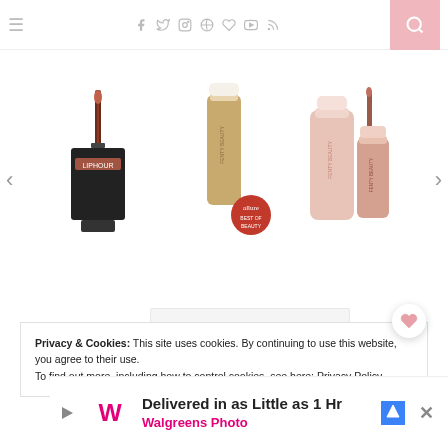Navigation header with hamburger menu, social icons (facebook, twitter, instagram, pinterest, heart, youtube, rss), and search button
[Figure (photo): Product carousel showing three beauty products: (1) a dark liquid lipstick set with black packaging, (2) a foundation/concealer bottle with Allure award badge, (3) two pink lip gloss products with rose-gold packaging. Left and right navigation arrows on sides.]
Privacy & Cookies: This site uses cookies. By continuing to use this website, you agree to their use.
To find out more, including how to control cookies, see here: Privacy Policy
[Figure (infographic): Walgreens Photo advertisement banner: 'Delivered in as Little as 1 Hr' with Walgreens logo and blue direction arrow icon. Close button X on right side.]